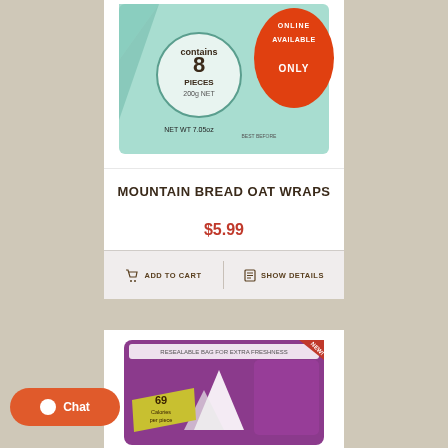[Figure (photo): Mountain Bread Oat Wraps product package — teal/mint colored box showing 8 pieces, 200g net, NET WT 7.05oz, with 'ONLINE AVAILABLE ONLY' badge in orange]
MOUNTAIN BREAD OAT WRAPS
$5.99
ADD TO CART
SHOW DETAILS
[Figure (photo): Second product package — purple resealable bag with '69 Calories per piece' label, NEW badge, mountain bread wraps]
Chat